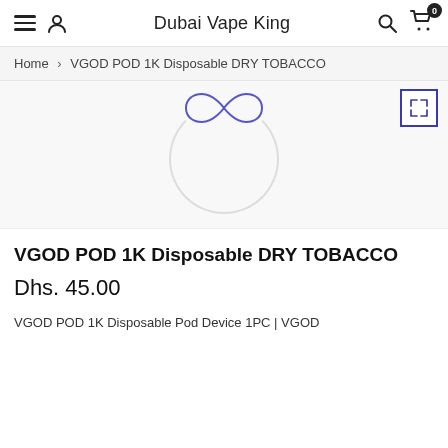Dubai Vape King
Home > VGOD POD 1K Disposable DRY TOBACCO
[Figure (screenshot): Product image loading placeholder with an infinity symbol and a circular spinner on a light gray background, with an expand/fullscreen button in the top right corner]
VGOD POD 1K Disposable DRY TOBACCO
Dhs. 45.00
VGOD POD 1K Disposable Pod Device 1PC | VGOD